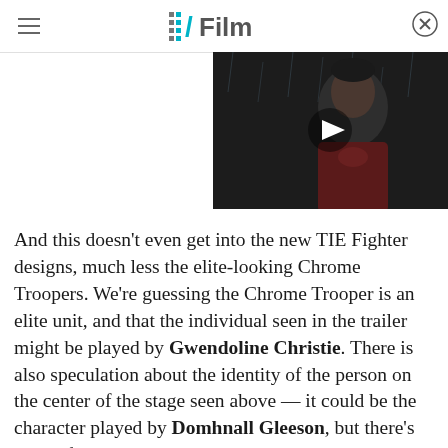/Film
[Figure (screenshot): Video thumbnail showing a man in a Superman costume in the rain with a play button overlay]
And this doesn't even get into the new TIE Fighter designs, much less the elite-looking Chrome Troopers. We're guessing the Chrome Trooper is an elite unit, and that the individual seen in the trailer might be played by Gwendoline Christie. There is also speculation about the identity of the person on the center of the stage seen above — it could be the character played by Domhnall Gleeson, but there's no confirmation on that.